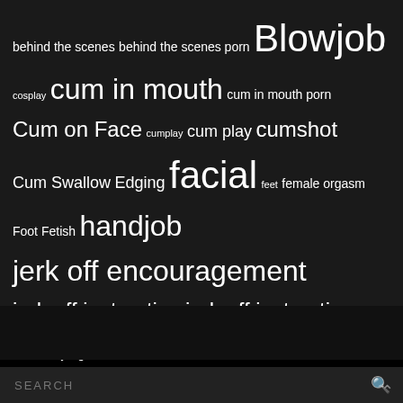behind the scenes behind the scenes porn Blowjob cosplay cum in mouth cum in mouth porn Cum on Face cumplay cum play cumshot Cum Swallow Edging facial feet female orgasm Foot Fetish handjob jerk off encouragement jerk off instruction jerk off instructions JOI joi games masturbation encouragement Members photoset Non-Nude nsfw snapchat nude photoshoot photos photoset pov Premium Snap Roleplay satin Satin Nighty sensual sensual blowjob sensual porn sex sexy snapchat snapchat snapchat saturdays solo joi solo masturbation taboo wife blowjob
SEARCH